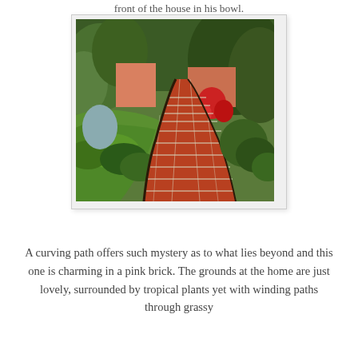front of the house in his bowl.
[Figure (photo): A curving red brick path winding through a tropical garden with lush green grass on the left, green and red flowering plants on the right, and trees and a pink wall in the background.]
A curving path offers such mystery as to what lies beyond and this one is charming in a pink brick. The grounds at the home are just lovely, surrounded by tropical plants yet with winding paths through grassy